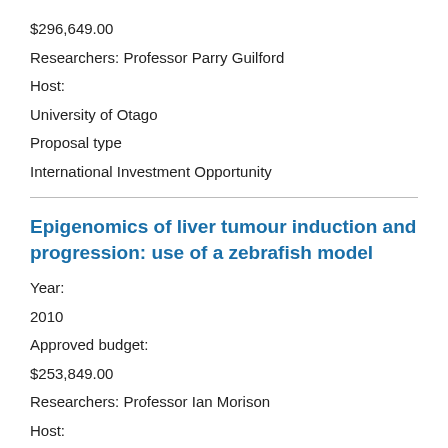$296,649.00
Researchers: Professor Parry Guilford
Host:
University of Otago
Proposal type
International Investment Opportunity
Epigenomics of liver tumour induction and progression: use of a zebrafish model
Year:
2010
Approved budget:
$253,849.00
Researchers: Professor Ian Morison
Host: